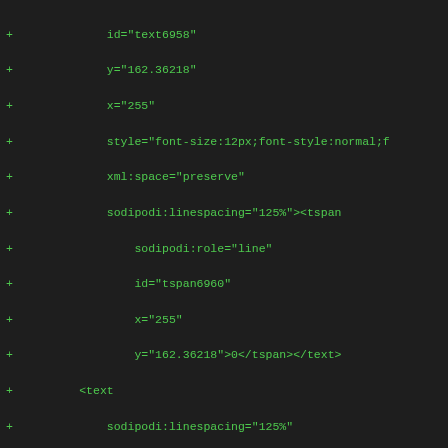+ id="text6958"
+ y="162.36218"
+ x="255"
+ style="font-size:12px;font-style:normal;f
+ xml:space="preserve"
+ sodipodi:linespacing="125%"><tspan
+     sodipodi:role="line"
+     id="tspan6960"
+     x="255"
+     y="162.36218">0</tspan></text>
+     <text
+         sodipodi:linespacing="125%"
+         id="text6962"
+         y="164.36218"
+         x="263"
+         style="font-size:8px;font-style:normal;fo
+         xml:space="preserve"><tspan
+             id="tspan6964"
+             sodipodi:role="line"
+             x="263"
+             y="164.36218">3</tspan></text>
+     </g>
+     <g
+         id="g6966"
+         transform="translate(3,-28)">
+     <text
+         id="text6968"
+         y="200.36218"
+         x="197"
+         style="font-size:12px;font-style:normal;f